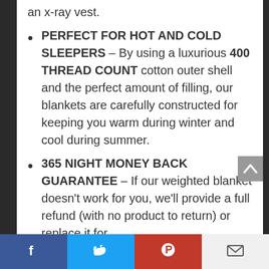an x-ray vest.
PERFECT FOR HOT AND COLD SLEEPERS – By using a luxurious 400 THREAD COUNT cotton outer shell and the perfect amount of filling, our blankets are carefully constructed for keeping you warm during winter and cool during summer.
365 NIGHT MONEY BACK GUARANTEE – If our weighted blanket doesn't work for you, we'll provide a full refund (with no product to return) or replace it for
Facebook | Twitter | Pinterest | Email